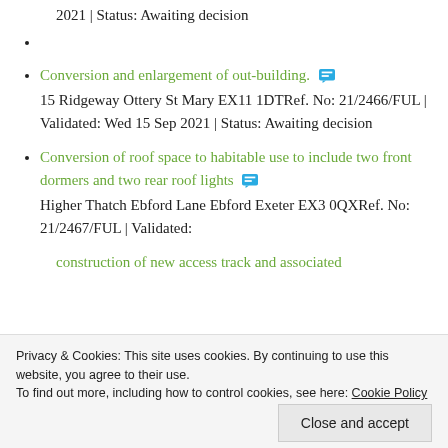2021 | Status: Awaiting decision
Conversion and enlargement of out-building. 15 Ridgeway Ottery St Mary EX11 1DTRef. No: 21/2466/FUL | Validated: Wed 15 Sep 2021 | Status: Awaiting decision
Conversion of roof space to habitable use to include two front dormers and two rear roof lights Higher Thatch Ebford Lane Ebford Exeter EX3 0QXRef. No: 21/2467/FUL | Validated:
construction of new access track and associated
Privacy & Cookies: This site uses cookies. By continuing to use this website, you agree to their use. To find out more, including how to control cookies, see here: Cookie Policy